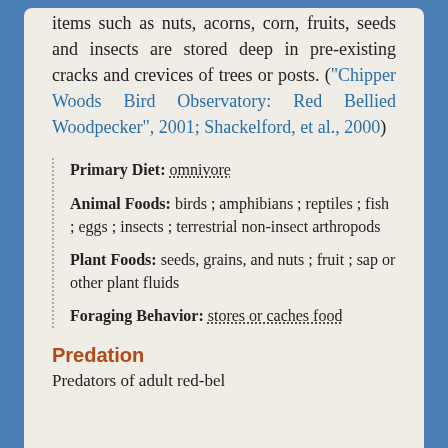items such as nuts, acorns, corn, fruits, seeds and insects are stored deep in pre-existing cracks and crevices of trees or posts. ("Chipper Woods Bird Observatory: Red Bellied Woodpecker", 2001; Shackelford, et al., 2000)
Primary Diet: omnivore
Animal Foods: birds ; amphibians ; reptiles ; fish ; eggs ; insects ; terrestrial non-insect arthropods
Plant Foods: seeds, grains, and nuts ; fruit ; sap or other plant fluids
Foraging Behavior: stores or caches food
Predation
Predators of adult red-bel...